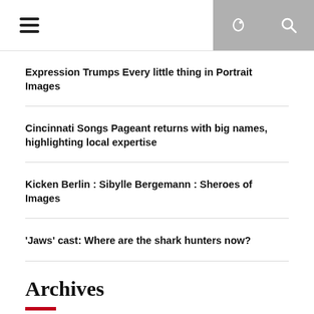Navigation bar with hamburger menu and icons
Expression Trumps Every little thing in Portrait Images
Cincinnati Songs Pageant returns with big names, highlighting local expertise
Kicken Berlin : Sibylle Bergemann : Sheroes of Images
‘Jaws’ cast: Where are the shark hunters now?
Archives
Select Month